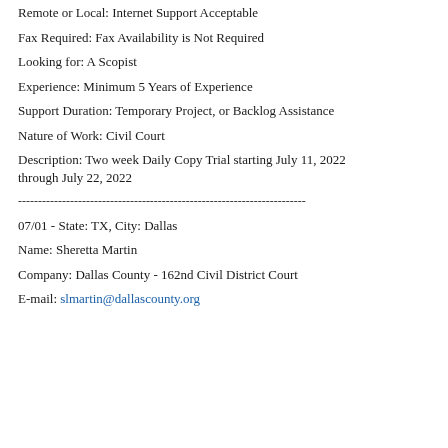Remote or Local: Internet Support Acceptable
Fax Required: Fax Availability is Not Required
Looking for: A Scopist
Experience: Minimum 5 Years of Experience
Support Duration: Temporary Project, or Backlog Assistance
Nature of Work: Civil Court
Description: Two week Daily Copy Trial starting July 11, 2022 through July 22, 2022
------------------------------------------------------------------------
07/01 - State: TX, City: Dallas
Name: Sheretta Martin
Company: Dallas County - 162nd Civil District Court
E-mail: slmartin@dallascounty.org